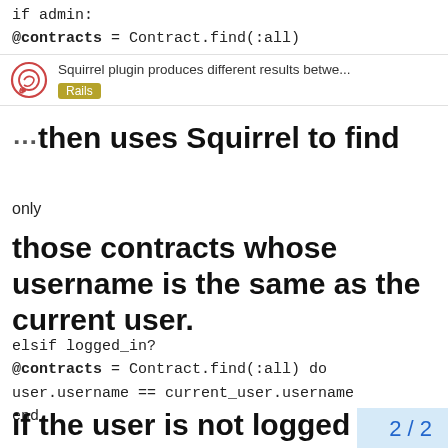if admin:
@contracts = Contract.find(:all)
[Figure (screenshot): Toast notification: 'Squirrel plugin produces different results betwe...' with Rails tag]
then uses Squirrel to find
only
those contracts whose username is the same as the current user.
elsif logged_in?
@contracts = Contract.find(:all) do
user.username == current_user.username
end
if the user is not logged in calls Authlogic's login_required to
2 / 2